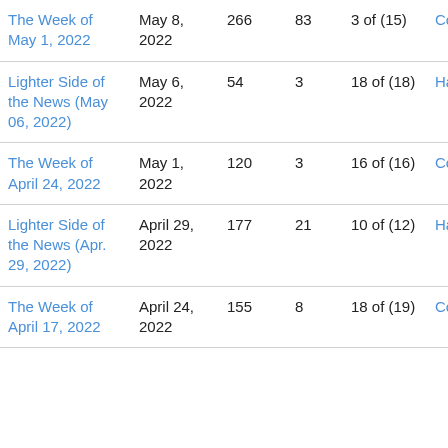| The Week of May 1, 2022 | May 8, 2022 | 266 | 83 | 3 of (15) | CoenM |
| Lighter Side of the News (May 06, 2022) | May 6, 2022 | 54 | 3 | 18 of (18) | HallR |
| The Week of April 24, 2022 | May 1, 2022 | 120 | 3 | 16 of (16) | CoenM |
| Lighter Side of the News (Apr. 29, 2022) | April 29, 2022 | 177 | 21 | 10 of (12) | HallR |
| The Week of April 17, 2022 | April 24, 2022 | 155 | 8 | 18 of (19) | CoenM |